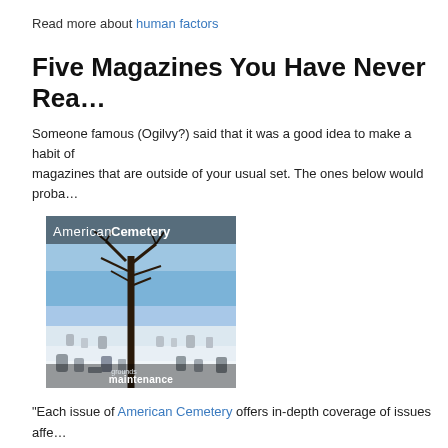Read more about human factors
Five Magazines You Have Never Rea…
Someone famous (Ogilvy?) said that it was a good idea to make a habit of magazines that are outside of your usual set. The ones below would proba…
[Figure (photo): Magazine cover of American Cemetery showing a snow-covered cemetery with bare trees and gravestones, title reads 'American Cemetery' and subtitle 'grounds maintenance']
"Each issue of American Cemetery offers in-depth coverage of issues affe… cemetery profession in today's competitive business environment, includin… maintenance tips, national and state association coverage, preneed, market… cremation, insurance computers/software and much more."